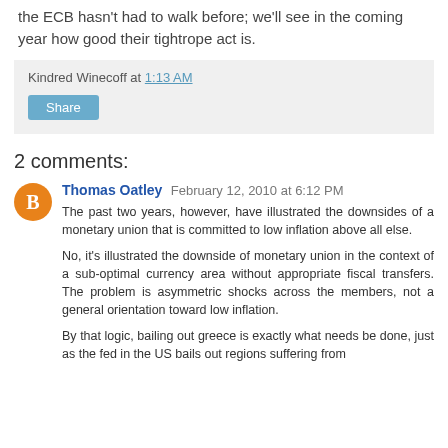the ECB hasn't had to walk before; we'll see in the coming year how good their tightrope act is.
Kindred Winecoff at 1:13 AM
Share
2 comments:
Thomas Oatley  February 12, 2010 at 6:12 PM
The past two years, however, have illustrated the downsides of a monetary union that is committed to low inflation above all else.
No, it's illustrated the downside of monetary union in the context of a sub-optimal currency area without appropriate fiscal transfers. The problem is asymmetric shocks across the members, not a general orientation toward low inflation.
By that logic, bailing out greece is exactly what needs be done, just as the fed in the US bails out regions suffering from